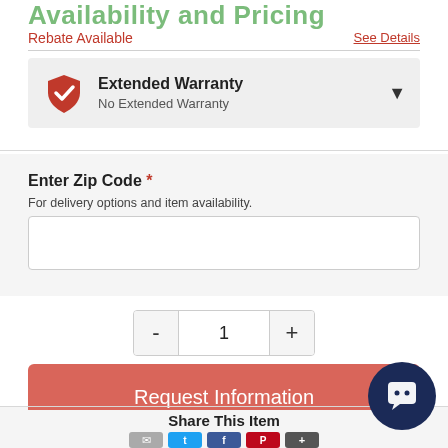Availability and Pricing
Rebate Available
See Details
Extended Warranty
No Extended Warranty
Enter Zip Code *
For delivery options and item availability.
1
Request Information
Share This Item